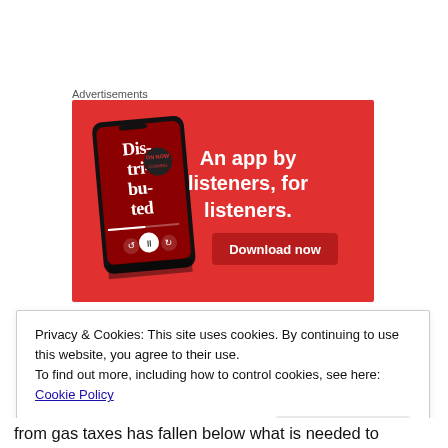Advertisements
[Figure (illustration): Advertisement banner with red background showing a smartphone with podcast app (Dis-tri-buted) and text 'An app by listeners, for listeners.' with a 'Download now' button]
Privacy & Cookies: This site uses cookies. By continuing to use this website, you agree to their use.
To find out more, including how to control cookies, see here: Cookie Policy
Close and accept
from gas taxes has fallen below what is needed to